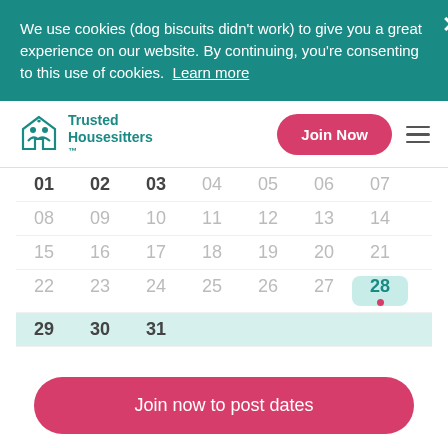We use cookies (dog biscuits didn't work) to give you a great experience on our website. By continuing, you're consenting to this use of cookies. Learn more
[Figure (logo): Trusted Housesitters logo with teal house and people icon]
Join Now
[Figure (infographic): Calendar view showing dates 01-31 with date 28 highlighted in teal background with a red dot, and row 29-31 highlighted in light teal]
Join now to post dates